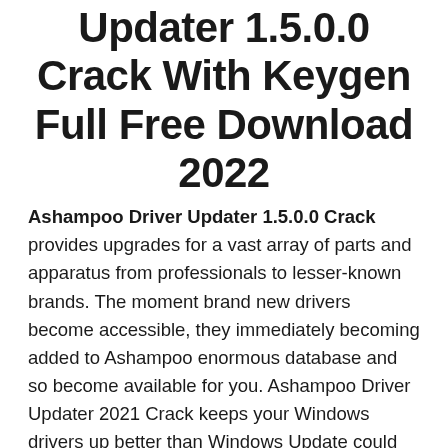Updater 1.5.0.0 Crack With Keygen Full Free Download 2022
Ashampoo Driver Updater 1.5.0.0 Crack provides upgrades for a vast array of parts and apparatus from professionals to lesser-known brands. The moment brand new drivers become accessible, they immediately becoming added to Ashampoo enormous database and so become available for you. Ashampoo Driver Updater 2021 Crack keeps your Windows drivers up better than Windows Update could do. The program compares them and scans your hardware elements. After new drivers are located, the program will be put in them.